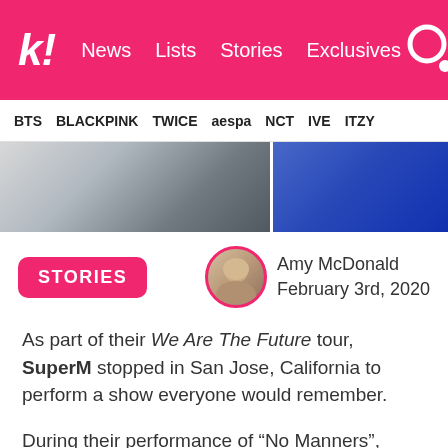k! News Lists Stories Exclusives
BTS BLACKPINK TWICE aespa NCT IVE ITZY
[Figure (photo): Concert photo band showing performers on stage, split into left grayscale section and right blue-lit section]
STORIES  Amy McDonald  February 3rd, 2020
As part of their We Are The Future tour, SuperM stopped in San Jose, California to perform a show everyone would remember.
During their performance of “No Manners”, Taeyong narrowly avoided taking a tumble that had Ten instantly reacting.